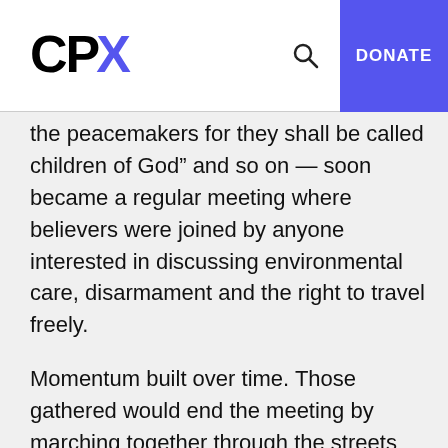CPX | DONATE
the peacemakers for they shall be called children of God” and so on — soon became a regular meeting where believers were joined by anyone interested in discussing environmental care, disarmament and the right to travel freely.
Momentum built over time. Those gathered would end the meeting by marching together through the streets calling for change. By 1988, 600 people would meet on a Monday. This swelled to 4,000 in September 1989. When, in early October of that year, the government